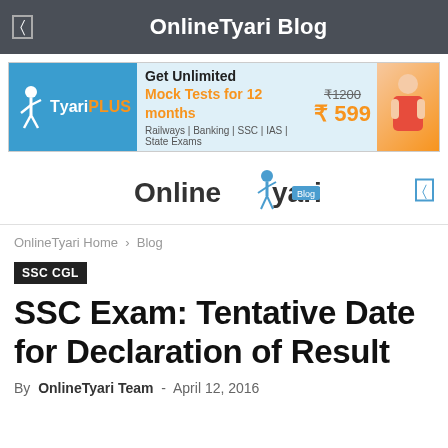OnlineTyari Blog
[Figure (infographic): TyariPLUS advertisement banner: Get Unlimited Mock Tests for 12 months, Railways | Banking | SSC | IAS | State Exams, price ₹1200 crossed out, ₹599]
[Figure (logo): OnlineTyari Blog logo]
OnlineTyari Home » Blog
SSC CGL
SSC Exam: Tentative Date for Declaration of Result
By OnlineTyari Team - April 12, 2016